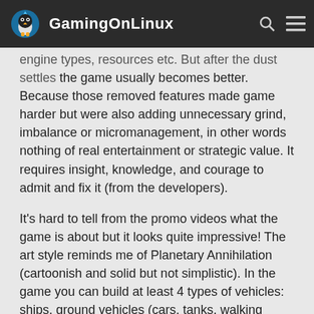GamingOnLinux
engine types, resources etc. But after the dust settles the game usually becomes better. Because those removed features made game harder but were also adding unnecessary grind, imbalance or micromanagement, in other words nothing of real entertainment or strategic value. It requires insight, knowledge, and courage to admit and fix it (from the developers).
It's hard to tell from the promo videos what the game is about but it looks quite impressive! The art style reminds me of Planetary Annihilation (cartoonish and solid but not simplistic). In the game you can build at least 4 types of vehicles: ships, ground vehicles (cars, tanks, walking machines), flying vehicles (planes/helicopters) and even spaceships! So yeah, it's good and unique, at least from what I saw and read.